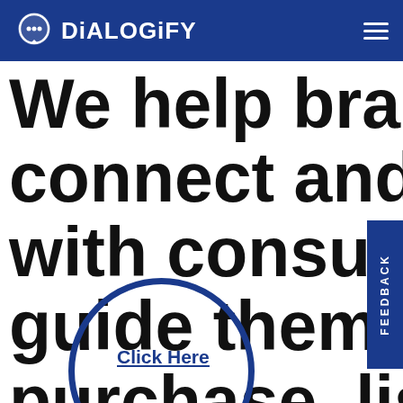DiALOGiFY
We help brands connect and engage with consumers guide them to purchase, listen and ultimately build relationships
[Figure (logo): Dialogify logo with chat bubble icon and hamburger menu on blue header bar]
FEEDBACK
[Figure (illustration): Blue circle outline overlaid on text, with 'Click Here' link inside]
Click Here